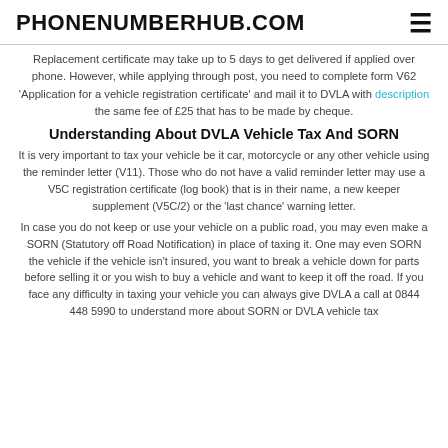PHONENUMBERHUB.COM
Replacement certificate may take up to 5 days to get delivered if applied over phone. However, while applying through post, you need to complete form V62 'Application for a vehicle registration certificate' and mail it to DVLA with description the same fee of £25 that has to be made by cheque.
Understanding About DVLA Vehicle Tax And SORN
It is very important to tax your vehicle be it car, motorcycle or any other vehicle using the reminder letter (V11). Those who do not have a valid reminder letter may use a V5C registration certificate (log book) that is in their name, a new keeper supplement (V5C/2) or the 'last chance' warning letter.
In case you do not keep or use your vehicle on a public road, you may even make a SORN (Statutory off Road Notification) in place of taxing it. One may even SORN the vehicle if the vehicle isn't insured, you want to break a vehicle down for parts before selling it or you wish to buy a vehicle and want to keep it off the road. If you face any difficulty in taxing your vehicle you can always give DVLA a call at 0844 448 5990 to understand more about SORN or DVLA vehicle tax